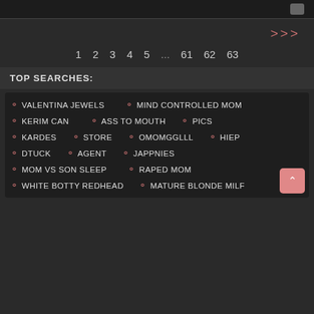>>> (navigation arrows)
1  2  3  4  5  ...  61  62  63
TOP SEARCHES:
VALENTINA JEWELS
MIND CONTROLLED MOM
KERIM CAN
ASS TO MOUTH
PICS
KARDES
STORE
OMOMGGLLL
HIEP
DTUCK
AGENT
JAPPNIES
MOM VS SON SLEEP
RAPED MOM
WHITE BOTTY REDHEAD
MATURE BLONDE MILF